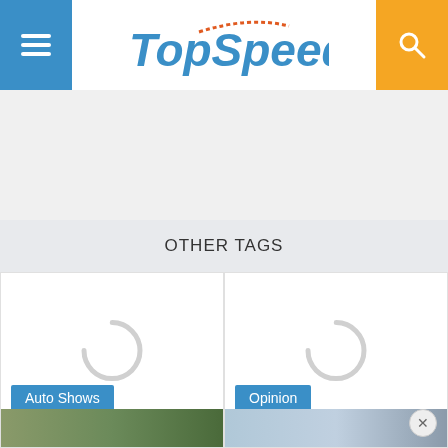[Figure (logo): TopSpeed website header with hamburger menu button on left, TopSpeed logo in center, search button on right]
[Figure (other): Advertisement placeholder area, light gray background]
OTHER TAGS
[Figure (other): Auto Shows tag card with loading spinner and label 'Auto Shows', partial image at bottom]
[Figure (other): Opinion tag card with loading spinner and label 'Opinion', partial image at bottom with close button]